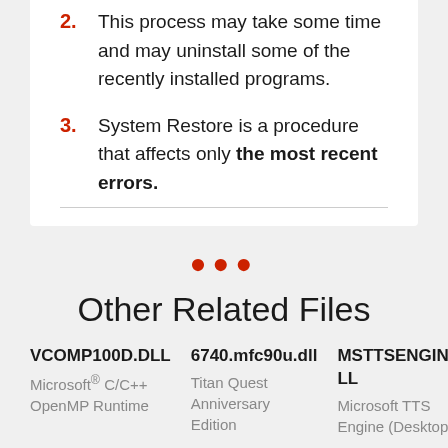2. This process may take some time and may uninstall some of the recently installed programs.
3. System Restore is a procedure that affects only the most recent errors.
Other Related Files
VCOMP100D.DLL
Microsoft® C/C++ OpenMP Runtime
6740.mfc90u.dll
Titan Quest Anniversary Edition
MSTTSENGINE.DLL
Microsoft TTS Engine (Desktop)